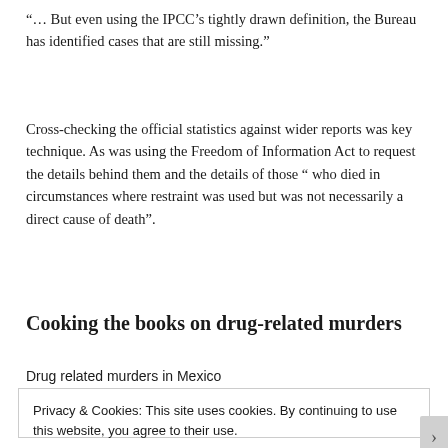“… But even using the IPCC’s tightly drawn definition, the Bureau has identified cases that are still missing.”
Cross-checking the official statistics against wider reports was key technique. As was using the Freedom of Information Act to request the details behind them and the details of those “ who died in circumstances where restraint was used but was not necessarily a direct cause of death”.
Cooking the books on drug-related murders
Drug related murders in Mexico
Privacy & Cookies: This site uses cookies. By continuing to use this website, you agree to their use.
To find out more, including how to control cookies, see here: Cookie Policy